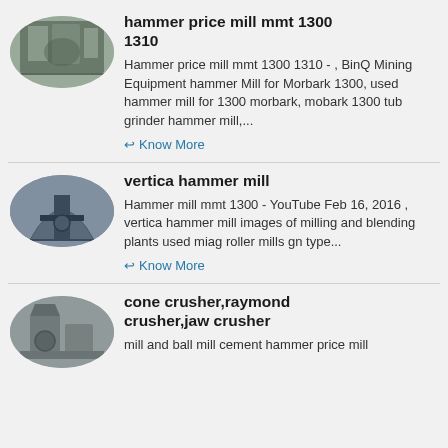[Figure (photo): Oval thumbnail photo of industrial hammer mill machinery inside a large warehouse/factory building]
hammer price mill mmt 1300 1310
Hammer price mill mmt 1300 1310 - , BinQ Mining Equipment hammer Mill for Morbark 1300, used hammer mill for 1300 morbark, mobark 1300 tub grinder hammer mill,...
← Know More
[Figure (photo): Oval thumbnail photo of vertical hammer mill industrial machinery with large arch-shaped structure]
vertica hammer mill
Hammer mill mmt 1300 - YouTube Feb 16, 2016 , vertica hammer mill images of milling and blending plants used miag roller mills gn type...
← Know More
[Figure (photo): Oval thumbnail photo of cone/jaw crusher industrial machinery]
cone crusher,raymond crusher,jaw crusher
mill and ball mill cement hammer price mill